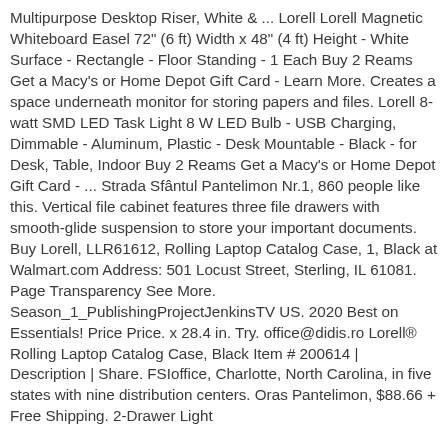Multipurpose Desktop Riser, White & ... Lorell Lorell Magnetic Whiteboard Easel 72" (6 ft) Width x 48" (4 ft) Height - White Surface - Rectangle - Floor Standing - 1 Each Buy 2 Reams Get a Macy's or Home Depot Gift Card - Learn More. Creates a space underneath monitor for storing papers and files. Lorell 8-watt SMD LED Task Light 8 W LED Bulb - USB Charging, Dimmable - Aluminum, Plastic - Desk Mountable - Black - for Desk, Table, Indoor Buy 2 Reams Get a Macy's or Home Depot Gift Card - ... Strada Sfântul Pantelimon Nr.1, 860 people like this. Vertical file cabinet features three file drawers with smooth-glide suspension to store your important documents. Buy Lorell, LLR61612, Rolling Laptop Catalog Case, 1, Black at Walmart.com Address: 501 Locust Street, Sterling, IL 61081. Page Transparency See More. Season_1_PublishingProjectJenkinsTV US. 2020 Best on Essentials! Price Price. x 28.4 in. Try. office@didis.ro Lorell® Rolling Laptop Catalog Case, Black Item # 200614 | Description | Share. FSIoffice, Charlotte, North Carolina, in five states with nine distribution centers. Oras Pantelimon, $88.66 + Free Shipping. 2-Drawer Light